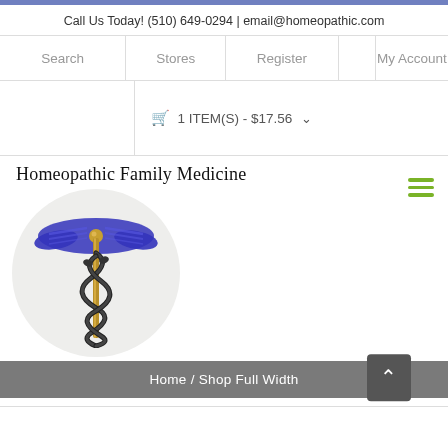Call Us Today! (510) 649-0294 | email@homeopathic.com
Search | Stores | Register | My Account
🛒 1 ITEM(S) - $17.56 ∨
[Figure (logo): Homeopathic Family Medicine logo with caduceus symbol on circular gray background and site title text]
Home / Shop Full Width